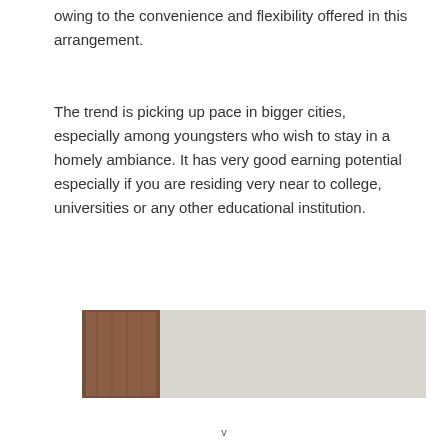owing to the convenience and flexibility offered in this arrangement.
The trend is picking up pace in bigger cities, especially among youngsters who wish to stay in a homely ambiance. It has very good earning potential especially if you are residing very near to college, universities or any other educational institution.
[Figure (photo): A photograph of a room interior showing a wooden door or wall panel on the left, a light-colored wall in the center, and what appears to be a light fixture or switch on the right side.]